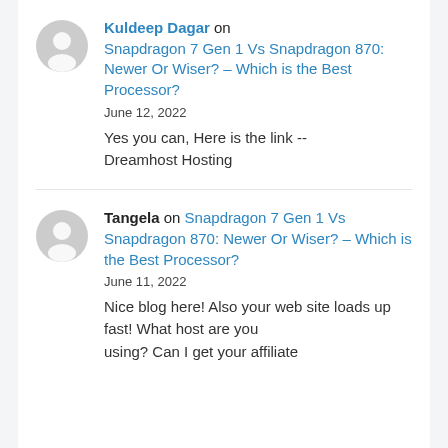Kuldeep Dagar on Snapdragon 7 Gen 1 Vs Snapdragon 870: Newer Or Wiser? – Which is the Best Processor?
June 12, 2022
Yes you can, Here is the link -- Dreamhost Hosting
Tangela on Snapdragon 7 Gen 1 Vs Snapdragon 870: Newer Or Wiser? – Which is the Best Processor?
June 11, 2022
Nice blog here! Also your web site loads up fast! What host are you using? Can I get your affiliate